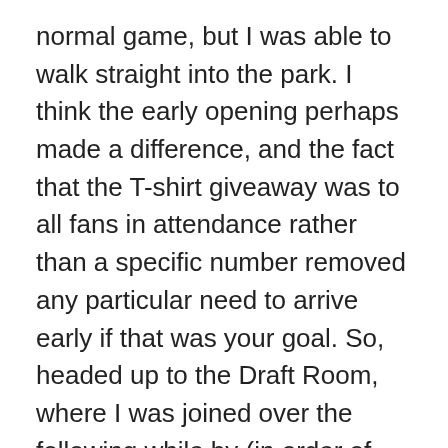normal game, but I was able to walk straight into the park. I think the early opening perhaps made a difference, and the fact that the T-shirt giveaway was to all fans in attendance rather than a specific number removed any particular need to arrive early if that was your goal. So, headed up to the Draft Room, where I was joined over the following while by (in order of appearance) SongBird, shoewizard and shoewizard Jr, and imstillhungry95. Beers were drunk, nachos consumed, baseball discussed:and a fine time was had by all.
We were all in different areas, so split up around 4:15pm to get to our seats. The warm-up was a screening of the MLB Network show, Randy Johnson: The Big Picture, which I'd actually just finished watching myself that morning. The presentation started